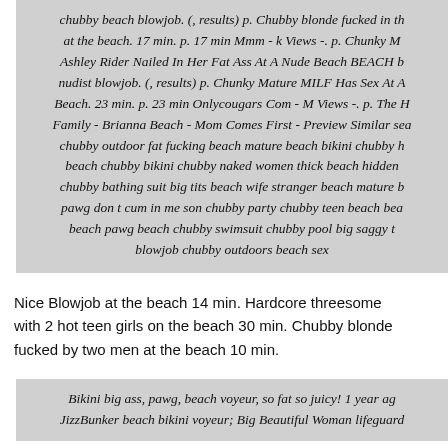chubby beach blowjob. (, results) p. Chubby blonde fucked in th at the beach. 17 min. p. 17 min Mmm - k Views -. p. Chunky M Ashley Rider Nailed In Her Fat Ass At A Nude Beach BEACH b nudist blowjob. (, results) p. Chunky Mature MILF Has Sex At A Beach. 23 min. p. 23 min Onlycougars Com - M Views -. p. The H Family - Brianna Beach - Mom Comes First - Preview Similar sea chubby outdoor fat fucking beach mature beach bikini chubby h beach chubby bikini chubby naked women thick beach hidden chubby bathing suit big tits beach wife stranger beach mature b pawg don t cum in me son chubby party chubby teen beach bea beach pawg beach chubby swimsuit chubby pool big saggy t blowjob chubby outdoors beach sex
Nice Blowjob at the beach 14 min. Hardcore threesome with 2 hot teen girls on the beach 30 min. Chubby blonde fucked by two men at the beach 10 min.
Bikini big ass, pawg, beach voyeur, so fat so juicy! 1 year ag JizzBunker beach bikini voyeur; Big Beautiful Woman lifeguard